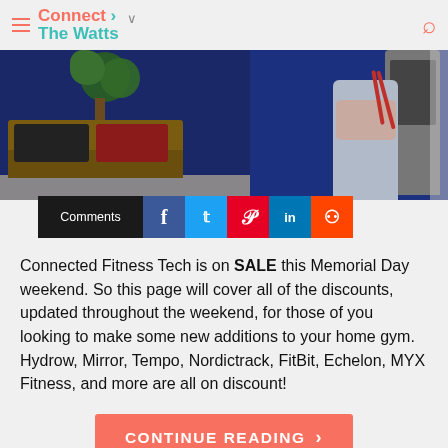Connect The Watts
[Figure (photo): Hero image of a home fitness setup with a person in workout clothes next to a connected fitness machine against a dark blue wall, with a living room sofa and plant visible on the left side.]
Comments
Connected Fitness Tech is on SALE this Memorial Day weekend. So this page will cover all of the discounts, updated throughout the weekend, for those of you looking to make some new additions to your home gym. Hydrow, Mirror, Tempo, Nordictrack, FitBit, Echelon, MYX Fitness, and more are all on discount!
CONTINUE READING >